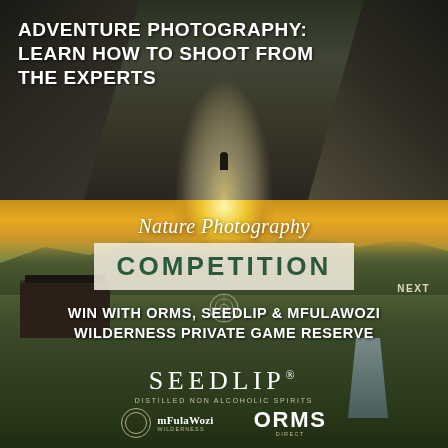[Figure (photo): Canyon adventure photography: dark rocky canyon walls with a bright slit of light at the bottom, silhouette of a person standing at the edge]
ADVENTURE PHOTOGRAPHY: LEARN HOW TO SHOOT FROM THE EXPERTS
[Figure (photo): Nature Photography Competition promotional image: aerial/landscape view of wilderness at golden sunset with building, river stream, hills, overlaid with competition text and sponsor logos]
Nature Photography
COMPETITION
NEXT
WIN WITH ORMS, SEEDLIP & MFULAWOZI WILDERNESS PRIVATE GAME RESERVE
SEEDLIP® DISTILLED NON ALCOHOLIC SPIRITS
mFulaWozi WILDERNESS
ORMS DIRECT